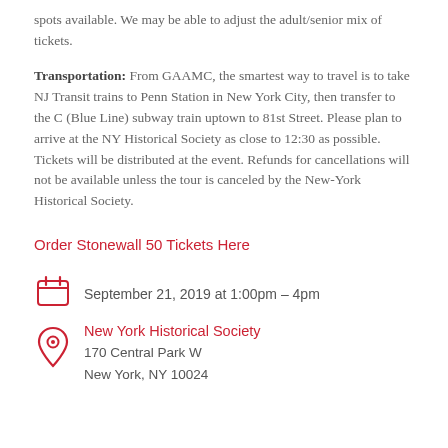spots available. We may be able to adjust the adult/senior mix of tickets.
Transportation: From GAAMC, the smartest way to travel is to take NJ Transit trains to Penn Station in New York City, then transfer to the C (Blue Line) subway train uptown to 81st Street. Please plan to arrive at the NY Historical Society as close to 12:30 as possible. Tickets will be distributed at the event. Refunds for cancellations will not be available unless the tour is canceled by the New-York Historical Society.
Order Stonewall 50 Tickets Here
September 21, 2019 at 1:00pm – 4pm
New York Historical Society
170 Central Park W
New York, NY 10024